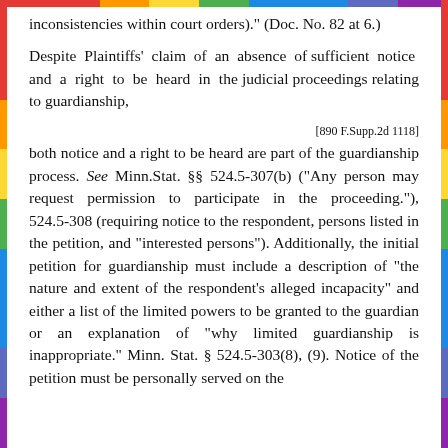inconsistencies within court orders)." (Doc. No. 82 at 6.)
Despite Plaintiffs' claim of an absence of sufficient notice and a right to be heard in the judicial proceedings relating to guardianship,
[890 F.Supp.2d 1118]
both notice and a right to be heard are part of the guardianship process. See Minn.Stat. §§ 524.5-307(b) ("Any person may request permission to participate in the proceeding."), 524.5-308 (requiring notice to the respondent, persons listed in the petition, and "interested persons"). Additionally, the initial petition for guardianship must include a description of "the nature and extent of the respondent's alleged incapacity" and either a list of the limited powers to be granted to the guardian or an explanation of "why limited guardianship is inappropriate." Minn. Stat. § 524.5-303(8), (9). Notice of the petition must be personally served on the